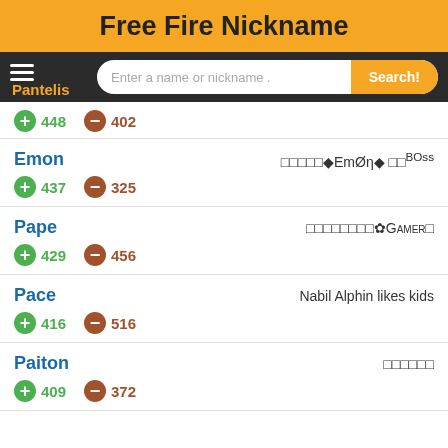Free Fire Nickname
Pantelis | Enter a name or nickname . | Search!
+448  -402
Emon  □□□□□◆EmØη◆ □□BOss
+437  -325
Pape  □□□□□□□□✿GAMER□
+429  -456
Pace  Nabil Alphin likes kids
+416  -516
Paiton  □□□□□□
+409  -372